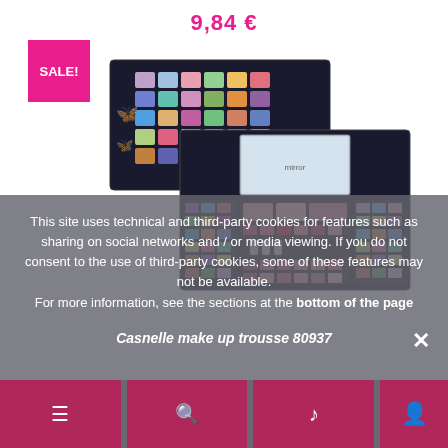9,84 €
SALE!
[Figure (photo): Casnelle makeup palette set shown open and closed, with colorful eyeshadows, blush, and lip colors arranged in a black compact case with butterfly design]
This site uses technical and third-party cookies for features such as sharing on social networks and / or media viewing. If you do not consent to the use of third-party cookies, some of these features may not be available. For more information, see the sections at the bottom of the page
Casnelle make up trousse 80937